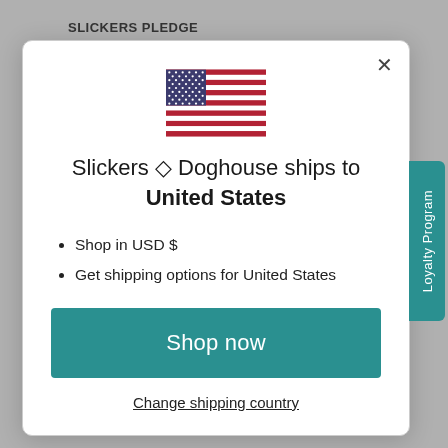SLICKERS PLEDGE
[Figure (illustration): US flag emoji/icon]
Slickers ◇ Doghouse ships to United States
Shop in USD $
Get shipping options for United States
Shop now
Change shipping country
Loyalty Program
Mon-Sat: 10am - 5:30pm
Sun: 10am - 4pm